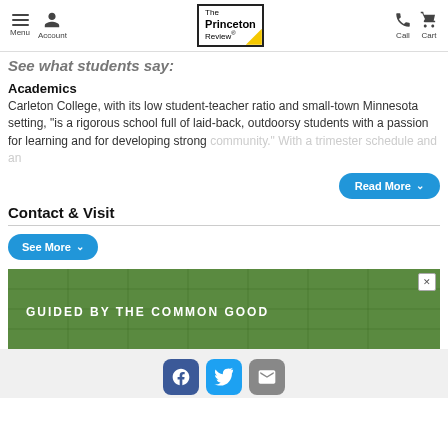Menu | Account | The Princeton Review | Call | Cart
See what students say:
Academics
Carleton College, with its low student-teacher ratio and small-town Minnesota setting, "is a rigorous school full of laid-back, outdoorsy students with a passion for learning and for developing strong community." With a trimester schedule and an
Contact & Visit
[Figure (screenshot): Advertisement banner with green background showing text 'GUIDED BY THE COMMON GOOD' with close button]
[Figure (infographic): Social media share buttons: Facebook (blue), Twitter (cyan), Email (gray)]